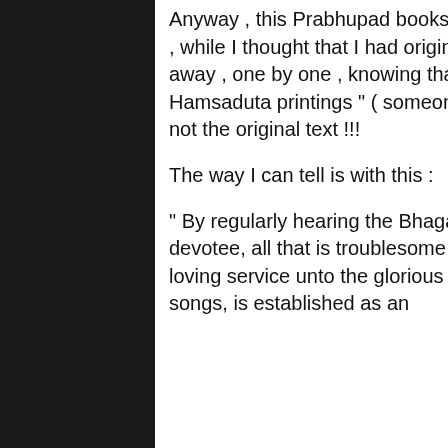Anyway , this Prabhupad books issue is heavy stuff , and I just realized that , while I thought that I had original texts ( I gave my good old Bhagavatams away , one by one , knowing that the new ones were polluted !!! ) with the " Hamsaduta printings " ( someone had sworn to me it was clean ) , they are not the original text !!!

The way I can tell is with this :

" By regularly hearing the Bhagavatam and rendering service unto the pure devotee, all that is troublesome to the heart is practically destroyed, and loving service unto the glorious Lord, who is praised with transcendental songs, is established as an